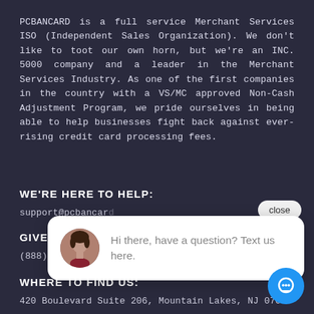PCBANCARD is a full service Merchant Services ISO (Independent Sales Organization). We don't like to toot our own horn, but we're an INC. 5000 company and a leader in the Merchant Services Industry. As one of the first companies in the country with a VS/MC approved Non-Cash Adjustment Program, we pride ourselves in being able to help businesses fight back against ever-rising credit card processing fees.
WE'RE HERE TO HELP:
support@pcbancar…
GIVE US A CA…
(888) 537-7332
WHERE TO FIND US:
420 Boulevard Suite 206, Mountain Lakes, NJ 07046
[Figure (other): Chat popup overlay with woman avatar and text 'Hi there, have a question? Text us here.' with a close button and blue chat icon button.]